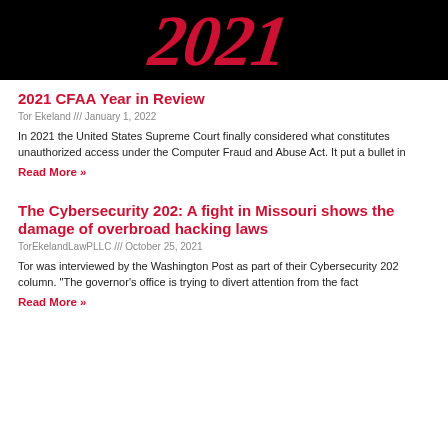[Figure (illustration): Black banner with red stylized '2021' text in italic serif font]
2021 CFAA Year in Review
Tor Ekeland /// January 1, 2022
In 2021 the United States Supreme Court finally considered what constitutes unauthorized access under the Computer Fraud and Abuse Act. It put a bullet in
Read More »
The Cybersecurity 202: A fight in Missouri shows the damage of overbroad hacking laws
TorEkelandLawPLLC /// October 25, 2021
Tor was interviewed by the Washington Post as part of their Cybersecurity 202 column. "The governor's office is trying to divert attention from the fact
Read More »